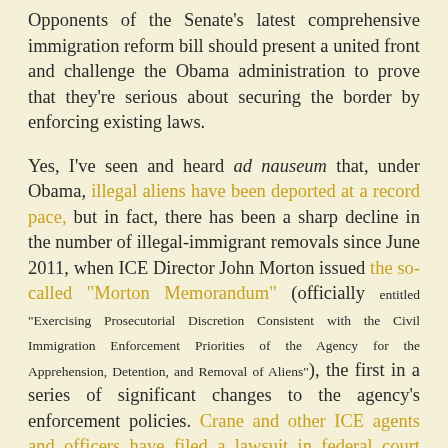Opponents of the Senate's latest comprehensive immigration reform bill should present a united front and challenge the Obama administration to prove that they're serious about securing the border by enforcing existing laws.
Yes, I've seen and heard ad nauseum that, under Obama, illegal aliens have been deported at a record pace, but in fact, there has been a sharp decline in the number of illegal-immigrant removals since June 2011, when ICE Director John Morton issued the so-called "Morton Memorandum" (officially entitled "Exercising Prosecutorial Discretion Consistent with the Civil Immigration Enforcement Priorities of the Agency for the Apprehension, Detention, and Removal of Aliens"), the first in a series of significant changes to the agency's enforcement policies. Crane and other ICE agents and officers have filed a lawsuit in federal court challenging the validity of the Morton Memorandum and DHS Secretary Janet Napolitano's June 2012 Directive not to enforce immigration laws "against certain young people who were brought to this country as children and know only this country as home." (This was part of the Obama Administration's Deferred Action for Childhood Arrivals plan, or DACA.) At an evidentiary hearing in April